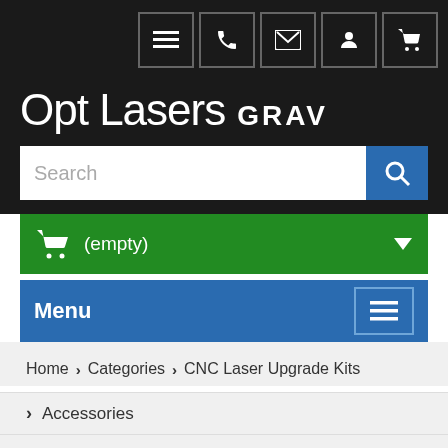[Figure (screenshot): Top navigation icon bar with menu, phone, email, account, and cart icons on dark background]
Opt Lasers GRAV
[Figure (screenshot): Search input bar with blue search button and magnifying glass icon]
[Figure (screenshot): Green shopping cart bar showing (empty) with dropdown arrow]
[Figure (screenshot): Blue Menu bar with hamburger menu icon]
Home > Categories > CNC Laser Upgrade Kits
Accessories
LaserDock Magnetic Docking Station - Limited